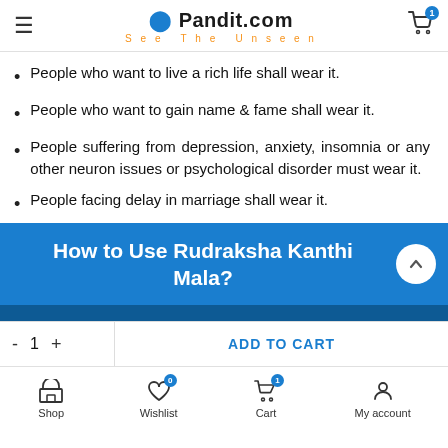Pandit.com — See The Unseen
People who want to live a rich life shall wear it.
People who want to gain name & fame shall wear it.
People suffering from depression, anxiety, insomnia or any other neuron issues or psychological disorder must wear it.
People facing delay in marriage shall wear it.
How to Use Rudraksha Kanthi Mala?
ADD TO CART
Shop   Wishlist   Cart   My account